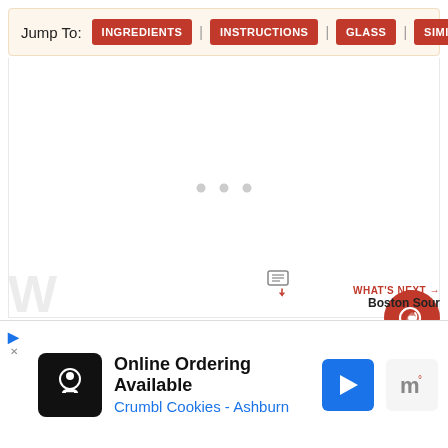Jump To: INGREDIENTS | INSTRUCTIONS | GLASS | SIMILAR
[Figure (screenshot): Main content area showing a loading state with three gray dots centered in a white panel. A red circular favorite button with a heart/bookmark icon is on the right side showing count of 1. A gray share button (share icon with plus) is below it.]
WHAT'S NEXT → Boston Sour
[Figure (infographic): Advertisement bar at the bottom: 'Online Ordering Available' from Crumbl Cookies - Ashburn with a chef logo on black background and a blue navigation arrow icon]